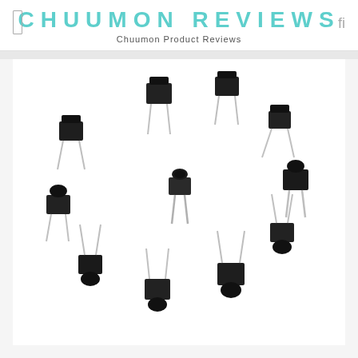CHUUMON REVIEWS
Chuumon Product Reviews
[Figure (photo): Multiple black tactile push button switches with metal pins arranged in a circular pattern on a white background, with one switch standing upright in the center]